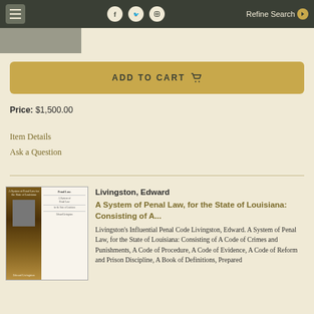Navigation bar with hamburger menu, social icons, Refine Search
[Figure (screenshot): Top left partial book cover image strip]
ADD TO CART
Price: $1,500.00
Item Details
Ask a Question
[Figure (photo): Book cover for A System of Penal Law for the State of Louisiana by Edward Livingston, showing spine and title page]
Livingston, Edward
A System of Penal Law, for the State of Louisiana: Consisting of A...
Livingston’s Influential Penal Code Livingston, Edward. A System of Penal Law, for the State of Louisiana: Consisting of A Code of Crimes and Punishments, A Code of Procedure, A Code of Evidence, A Code of Reform and Prison Discipline, A Book of Definitions, Prepared